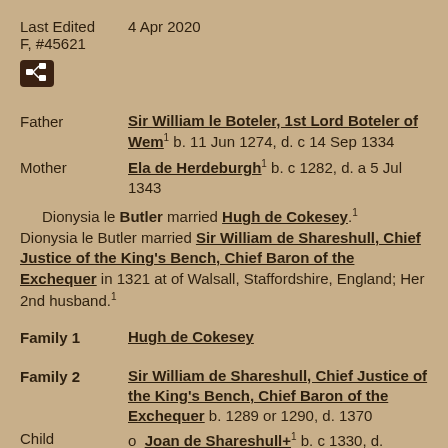Last Edited    4 Apr 2020
F, #45621
[Figure (other): Small dark brown icon box with a hierarchy/tree diagram symbol (white on dark background)]
Father   Sir William le Boteler, 1st Lord Boteler of Wem¹ b. 11 Jun 1274, d. c 14 Sep 1334
Mother   Ela de Herdeburgh¹ b. c 1282, d. a 5 Jul 1343
Dionysia le Butler married Hugh de Cokesey.¹ Dionysia le Butler married Sir William de Shareshull, Chief Justice of the King's Bench, Chief Baron of the Exchequer in 1321 at of Walsall, Staffordshire, England; Her 2nd husband.¹
Family 1   Hugh de Cokesey
Family 2   Sir William de Shareshull, Chief Justice of the King's Bench, Chief Baron of the Exchequer b. 1289 or 1290, d. 1370
Child   o Joan de Shareshull+¹ b. c 1330, d.